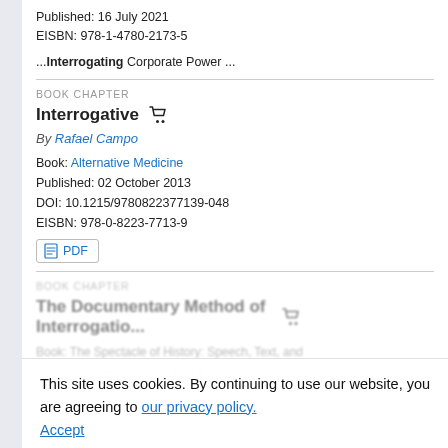Published: 16 July 2021
EISBN: 978-1-4780-2173-5
...Interrogating Corporate Power ...
BOOK CHAPTER
Interrogative
By Rafael Campo
Book: Alternative Medicine
Published: 02 October 2013
DOI: 10.1215/9780822377139-048
EISBN: 978-0-8223-7713-9
PDF
BOOK CHAPTER
The Documentary Method of Interrogatio...
This site uses cookies. By continuing to use our website, you are agreeing to our privacy policy. Accept